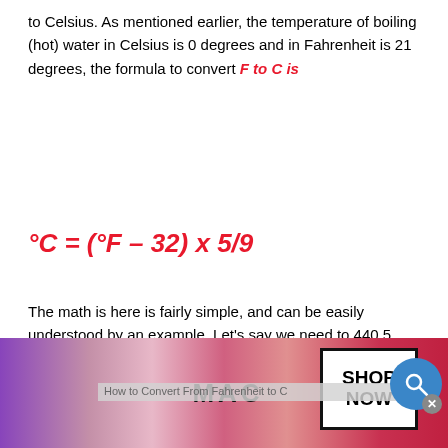to Celsius. As mentioned earlier, the temperature of boiling (hot) water in Celsius is 0 degrees and in Fahrenheit is 21 degrees, the formula to convert F to C is
The math is here is fairly simple, and can be easily understood by an example. Let's say we need to 440.5 Fahrenheit to Celsius
How To Convert 440.5 F to C?
To convert 440.5 degrees Fahrenheit to Celsius, all
[Figure (screenshot): MAC cosmetics advertisement banner with lipsticks and SHOP NOW button]